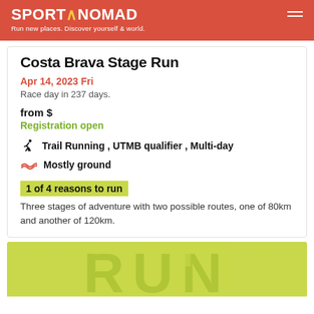SPORT∧NOMAD — Run new places. Discover yourself & world.
Costa Brava Stage Run
Apr 14, 2023 Fri
Race day in 237 days.
from $
Registration open
Trail Running , UTMB qualifier , Multi-day
Mostly ground
1 of 4 reasons to run
Three stages of adventure with two possible routes, one of 80km and another of 120km.
[Figure (photo): Yellow-green banner image with large distressed 'RUN' text lettering]